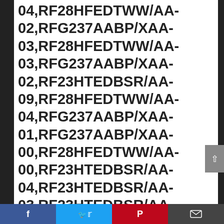04,RF28HFEDTWW/AA-02,RFG237AABP/XAA-03,RF28HFEDTWW/AA-03,RFG237AABP/XAA-02,RF23HTEDBSR/AA-09,RF28HFEDTWW/AA-04,RFG237AABP/XAA-01,RFG237AABP/XAA-00,RF28HFEDTWW/AA-00,RF23HTEDBSR/AA-04,RF23HTEDBSR/AA-03,RF23HTEDBSR/AA-02,RF23HTEDBSR/AA-01,RFG298HDBP/XAA,RF23HTEDBSR/AA-08,RF28HDEDBSR/AA-
[Figure (other): Social media share buttons footer bar: Facebook (blue), Twitter (light blue), Pinterest (red), Email (dark gray)]